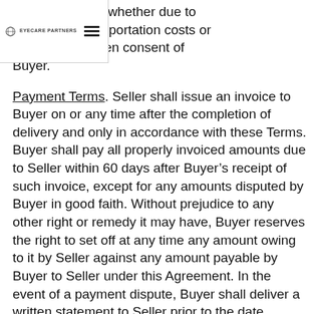EYECARE PARTNERS
nce is effective, whether due to al, labor or transportation costs or ut the prior written consent of Buyer.
Payment Terms. Seller shall issue an invoice to Buyer on or any time after the completion of delivery and only in accordance with these Terms. Buyer shall pay all properly invoiced amounts due to Seller within 60 days after Buyer’s receipt of such invoice, except for any amounts disputed by Buyer in good faith. Without prejudice to any other right or remedy it may have, Buyer reserves the right to set off at any time any amount owing to it by Seller against any amount payable by Buyer to Seller under this Agreement. In the event of a payment dispute, Buyer shall deliver a written statement to Seller prior to the date payment is due on the